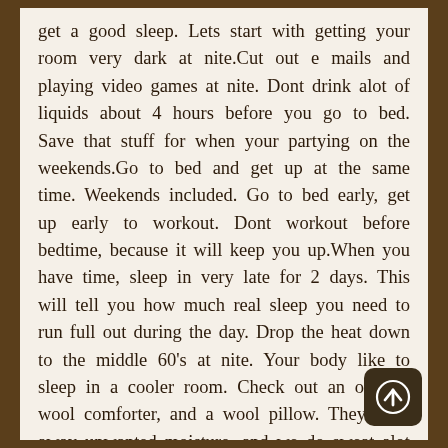get a good sleep. Lets start with getting your room very dark at nite.Cut out e mails and playing video games at nite. Dont drink alot of liquids about 4 hours before you go to bed. Save that stuff for when your partying on the weekends.Go to bed and get up at the same time. Weekends included. Go to bed early, get up early to workout. Dont workout before bedtime, because it will keep you up.When you have time, sleep in very late for 2 days. This will tell you how much real sleep you need to run full out during the day. Drop the heat down to the middle 60's at nite. Your body like to sleep in a cooler room. Check out an organic wool comforter, and a wool pillow. They wisk away unwanted moisture, and we do sweat alot during the nite. Give these a try and see anything helps.
[Figure (other): Circular up-arrow icon button, dark brown background with white arrow]